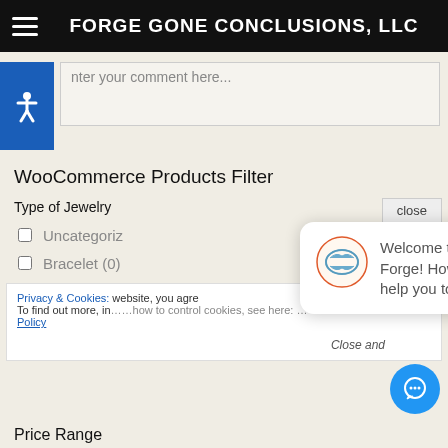FORGE GONE CONCLUSIONS, LLC
nter your comment here...
WooCommerce Products Filter
Type of Jewelry
Uncategoriz
Bracelet (0)
Privacy & Cookies: ... website, you agre... To find out more, including how to control cookies, see here: Cookie Policy
[Figure (other): Chat popup with avatar showing Welcome to the Forge! How can we help you today?]
Close and
Price Range